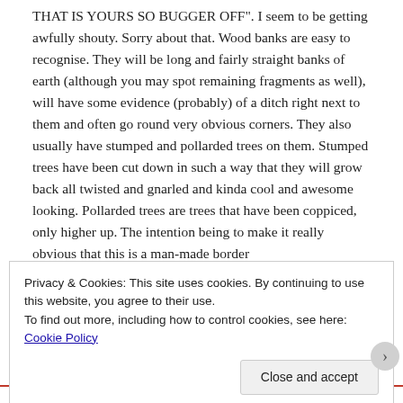THAT IS YOURS SO BUGGER OFF". I seem to be getting awfully shouty. Sorry about that. Wood banks are easy to recognise. They will be long and fairly straight banks of earth (although you may spot remaining fragments as well), will have some evidence (probably) of a ditch right next to them and often go round very obvious corners. They also usually have stumped and pollarded trees on them. Stumped trees have been cut down in such a way that they will grow back all twisted and gnarled and kinda cool and awesome looking. Pollarded trees are trees that have been coppiced, only higher up. The intention being to make it really obvious that this is a man-made border
Privacy & Cookies: This site uses cookies. By continuing to use this website, you agree to their use.
To find out more, including how to control cookies, see here: Cookie Policy
Close and accept